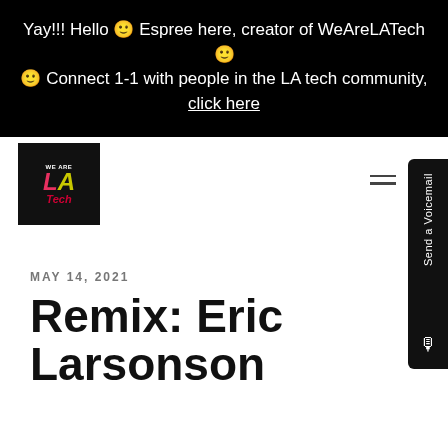Yay!!! Hello 🙂 Espree here, creator of WeAreLATech 🙂 🙂 Connect 1-1 with people in the LA tech community, click here
[Figure (logo): WeAreLATech logo - black square with stylized LA text in pink/yellow and Tech in red cursive]
MAY 14, 2021
Remix: Eric Larsonson